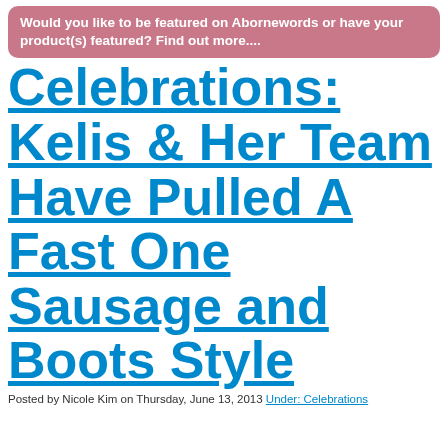Would you like to be featured on Abornewords or have your product(s) featured? Find out more....
Celebrations: Kelis & Her Team Have Pulled A Fast One Sausage and Boots Style
Posted by Nicole Kim on Thursday, June 13, 2013 Under: Celebrations